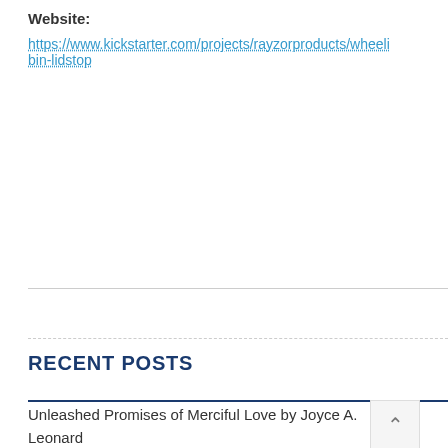Website:
https://www.kickstarter.com/projects/rayzorproducts/wheelbin-lidstop
RECENT POSTS
Unleashed Promises of Merciful Love by Joyce A. Leonard